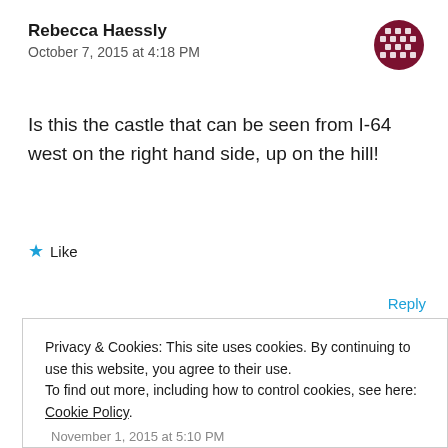Rebecca Haessly
October 7, 2015 at 4:18 PM
Is this the castle that can be seen from I-64 west on the right hand side, up on the hill!
★ Like
Reply
Privacy & Cookies: This site uses cookies. By continuing to use this website, you agree to their use.
To find out more, including how to control cookies, see here: Cookie Policy
Close and accept
November 1, 2015 at 5:10 PM